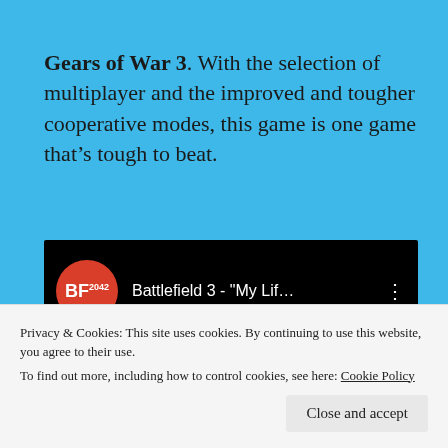Gears of War 3. With the selection of multiplayer and the improved and tougher cooperative modes, this game is one game that's tough to beat.
[Figure (screenshot): YouTube video thumbnail showing BF2042 logo (red circle with BF2042 text) and video title 'Battlefield 3 - "My Lif...' on black background]
Privacy & Cookies: This site uses cookies. By continuing to use this website, you agree to their use.
To find out more, including how to control cookies, see here: Cookie Policy